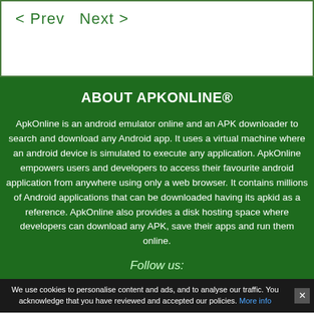< Prev  Next >
ABOUT APKONLINE®
ApkOnline is an android emulator online and an APK downloader to search and download any Android app. It uses a virtual machine where an android device is simulated to execute any application. ApkOnline empowers users and developers to access their favourite android application from anywhere using only a web browser. It contains millions of Android applications that can be downloaded having its apkid as a reference. ApkOnline also provides a disk hosting space where developers can download any APK, save their apps and run them online.
Follow us:
We use cookies to personalise content and ads, and to analyse our traffic. You acknowledge that you have reviewed and accepted our policies. More info